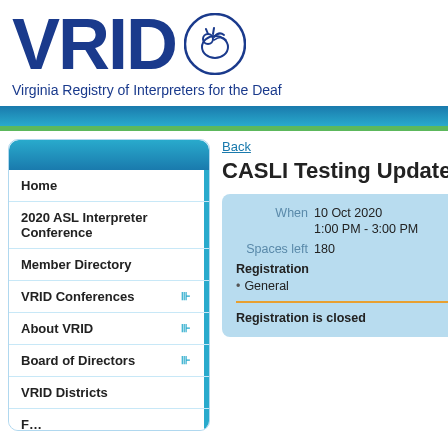[Figure (logo): VRID logo with large blue text 'VRID' and a circular sign language icon]
Virginia Registry of Interpreters for the Deaf
Back
CASLI Testing Update
When 10 Oct 2020
1:00 PM - 3:00 PM
Spaces left 180
Registration
• General
Registration is closed
Home
2020 ASL Interpreter Conference
Member Directory
VRID Conferences
About VRID
Board of Directors
VRID Districts